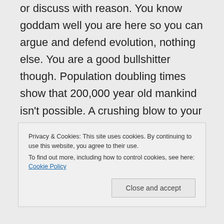or discuss with reason. You know goddam well you are here so you can argue and defend evolution, nothing else. You are a good bullshitter though. Population doubling times show that 200,000 year old mankind isn't possible. A crushing blow to your belief systems, so you must act dumb to protect it like a good indoctrinate should. And like all of your evo-
Privacy & Cookies: This site uses cookies. By continuing to use this website, you agree to their use.
To find out more, including how to control cookies, see here: Cookie Policy